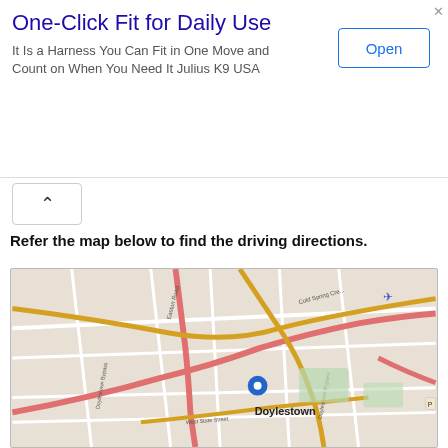One-Click Fit for Daily Use
It Is a Harness You Can Fit in One Move and Count on When You Need It Julius K9 USA
[Figure (map): Street map of Doylestown, PA showing location of 57 W Court Street, Doylestown, PA 18901 with a blue location pin and popup label. Map shows Easton Road, Cold Spring Creek, Doylestown Bypass, West State Street. Zoom in/out controls visible at top left.]
Refer the map below to find the driving directions.